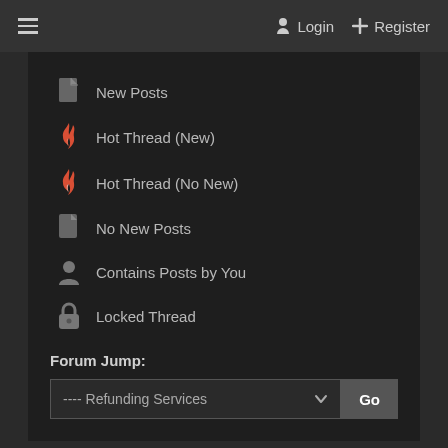☰  Login  + Register
New Posts
Hot Thread (New)
Hot Thread (No New)
No New Posts
Contains Posts by You
Locked Thread
Forum Jump:
---- Refunding Services  Go
© Cracked.io  2018 - 2022 | All Rights Reserved.
Switch to desktop